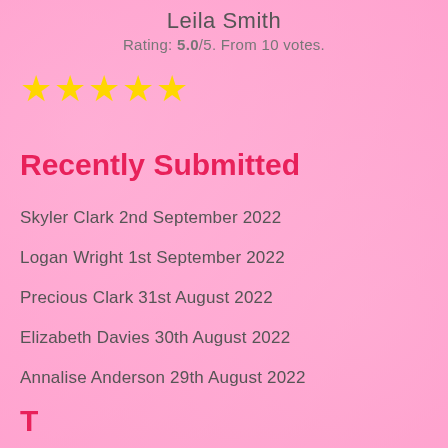Leila Smith
Rating: 5.0/5. From 10 votes.
[Figure (other): Five yellow star rating symbols]
Recently Submitted
Skyler Clark 2nd September 2022
Logan Wright 1st September 2022
Precious Clark 31st August 2022
Elizabeth Davies 30th August 2022
Annalise Anderson 29th August 2022
T...